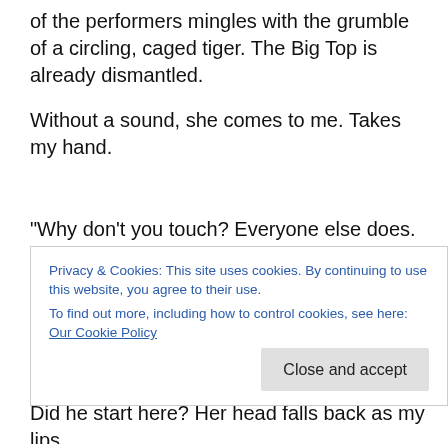of the performers mingles with the grumble of a circling, caged tiger. The Big Top is already dismantled.
Without a sound, she comes to me. Takes my hand.
“Why don’t you touch? Everyone else does.
I detect the confusion in her eyes as I pull away. “Because you’re not a curio, a novelty. Not to me. You’re so much more than that.”
Privacy & Cookies: This site uses cookies. By continuing to use this website, you agree to their use.
To find out more, including how to control cookies, see here: Our Cookie Policy
Did he start here? Her head falls back as my lips